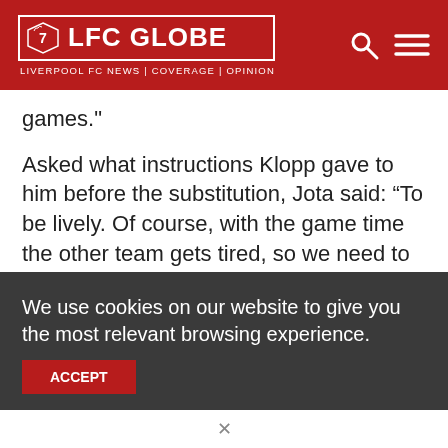LFC GLOBE | LIVERPOOL FC NEWS | COVERAGE | OPINION
games."
Asked what instructions Klopp gave to him before the substitution, Jota said: “To be lively. Of course, with the game time the other team gets tired, so we need to do movement, movement.
“Fortunately, in the end I got the space, a great pass from Shaq and I could score.”
We use cookies on our website to give you the most relevant browsing experience.